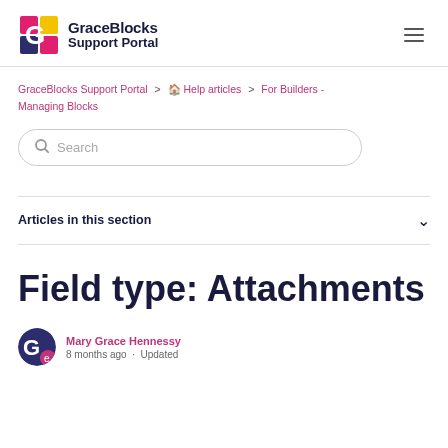GraceBlocks Support Portal
GraceBlocks Support Portal > 🏠 Help articles > For Builders - Managing Blocks
Search
Articles in this section
Field type: Attachments
Mary Grace Hennessy
8 months ago · Updated